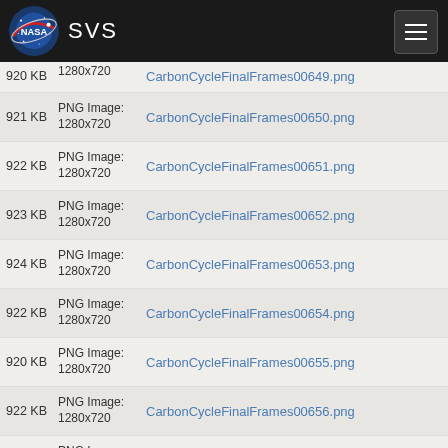NASA SVS
920 KB  PNG Image: 1280x720  CarbonCycleFinalFrames00649.png
921 KB  PNG Image: 1280x720  CarbonCycleFinalFrames00650.png
922 KB  PNG Image: 1280x720  CarbonCycleFinalFrames00651.png
923 KB  PNG Image: 1280x720  CarbonCycleFinalFrames00652.png
924 KB  PNG Image: 1280x720  CarbonCycleFinalFrames00653.png
922 KB  PNG Image: 1280x720  CarbonCycleFinalFrames00654.png
920 KB  PNG Image: 1280x720  CarbonCycleFinalFrames00655.png
922 KB  PNG Image: 1280x720  CarbonCycleFinalFrames00656.png
920 KB  PNG Image: 1280x720  CarbonCycleFinalFrames00657.png
922 KB  PNG Image: 1280x720  CarbonCycleFinalFrames00658.png